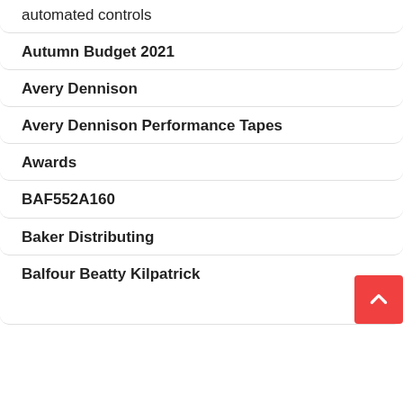automated controls
Autumn Budget 2021
Avery Dennison
Avery Dennison Performance Tapes
Awards
BAF552A160
Baker Distributing
Balfour Beatty Kilpatrick